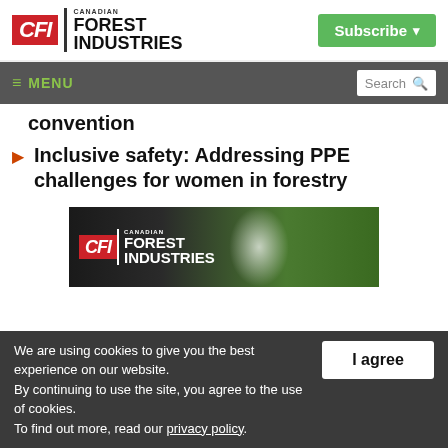Canadian Forest Industries — Subscribe
≡ MENU | Search
convention
Inclusive safety: Addressing PPE challenges for women in forestry
[Figure (logo): Canadian Forest Industries (CFI) banner advertisement with forest background]
We are using cookies to give you the best experience on our website. By continuing to use the site, you agree to the use of cookies. To find out more, read our privacy policy.